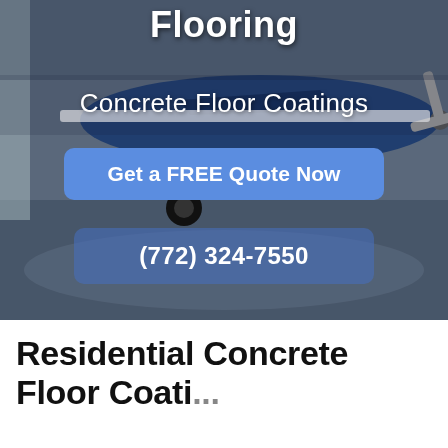[Figure (photo): Airplane in a hangar with a shiny epoxy-coated concrete floor. Blue and white plane visible with landing gear and propeller.]
Flooring
Concrete Floor Coatings
Get a FREE Quote Now
(772) 324-7550
Residential Concrete Floor Coati...